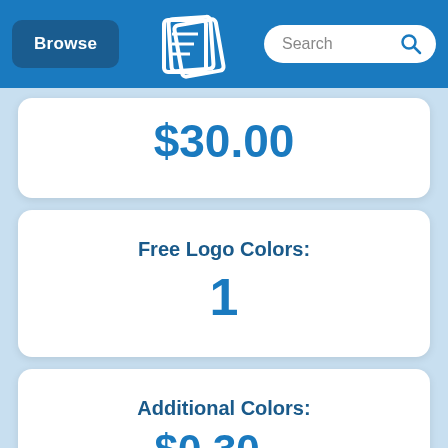Browse | [Logo] | Search
$30.00
Free Logo Colors: 1
Additional Colors: $0.30 ea.